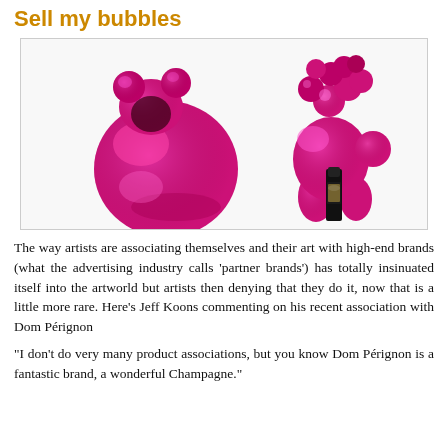Sell my bubbles
[Figure (photo): Two shiny magenta/pink metallic sculptures — a round seated figure on the left and a balloon poodle holding a Dom Pérignon champagne bottle on the right — against a white background, displayed within a light-bordered box.]
The way artists are associating themselves and their art with high-end brands (what the advertising industry calls 'partner brands') has totally insinuated itself into the artworld but artists then denying that they do it, now that is a little more rare. Here's Jeff Koons commenting on his recent association with Dom Pérignon
“I don’t do very many product associations, but you know Dom Pérignon is a fantastic brand, a wonderful Champagne.”